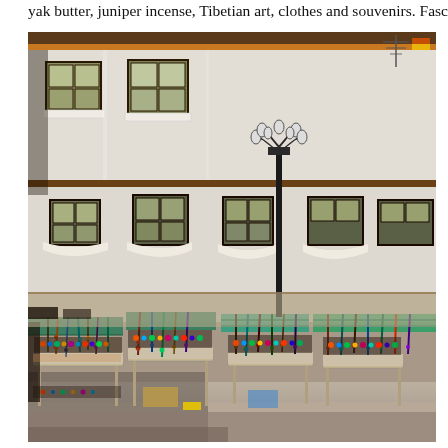yak butter, juniper incense, Tibetian art, clothes and souvenirs. Fasc
[Figure (photo): Street market scene in Tibet (likely Lhasa Barkhor area) showing outdoor vendor stalls with jewelry, beads, and souvenirs displayed on tables in front of traditional Tibetan whitewashed multi-story buildings with dark window frames. An ornate multi-arm street lamp is visible in the background, and a blue sky is above.]